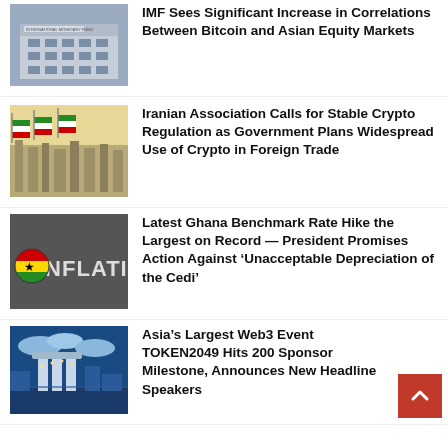[Figure (photo): IMF building exterior with sign reading International Monetary Fund]
IMF Sees Significant Increase in Correlations Between Bitcoin and Asian Equity Markets
[Figure (photo): Iranian flags waving over a cityscape with yellow sky]
Iranian Association Calls for Stable Crypto Regulation as Government Plans Widespread Use of Crypto in Foreign Trade
[Figure (photo): Ghana flag ball in front of letters spelling INFLATI (inflation) in white 3D text]
Latest Ghana Benchmark Rate Hike the Largest on Record — President Promises Action Against ‘Unacceptable Depreciation of the Cedi’
[Figure (photo): Singapore Marina Bay Sands aerial night view with city lights]
Asia’s Largest Web3 Event TOKEN2049 Hits 200 Sponsor Milestone, Announces New Headline Speakers